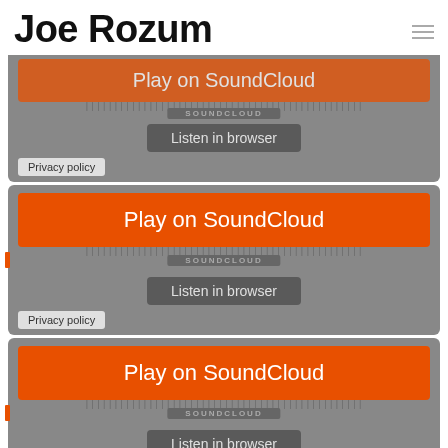Joe Rozum
[Figure (screenshot): SoundCloud embedded player widget (cropped top), showing 'Play on SoundCloud' orange button and 'Listen in browser' button, with Privacy policy label]
[Figure (screenshot): SoundCloud embedded player widget, showing 'Play on SoundCloud' orange button and 'Listen in browser' button, with Privacy policy label]
[Figure (screenshot): SoundCloud embedded player widget, showing 'Play on SoundCloud' orange button and 'Listen in browser' button, with Privacy policy label]
Album Notes